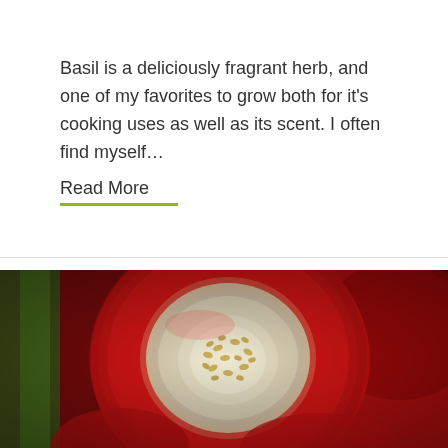Basil is a deliciously fragrant herb, and one of my favorites to grow both for it's cooking uses as well as its scent. I often find myself…
Read More
[Figure (photo): Close-up macro photograph of a sliced red chili pepper showing the interior seeds and pith, with other red peppers visible in the blurred background, and green stem visible at left.]